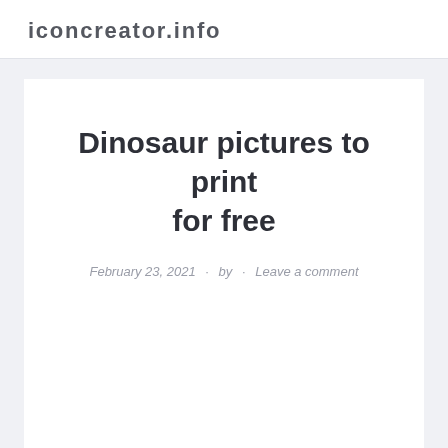iconcreator.info
Dinosaur pictures to print for free
February 23, 2021 · by · Leave a comment